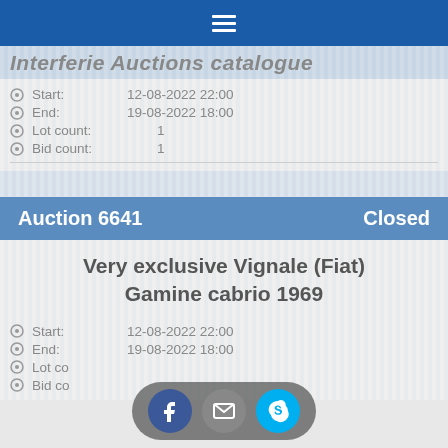≡
Interferie Auctions catalogue
Start: 12-08-2022 22:00
End: 19-08-2022 18:00
Lot count: 1
Bid count: 1
Auction 6641   Closed
Very exclusive Vignale (Fiat) Gamine cabrio 1969
Start: 12-08-2022 22:00
End: 19-08-2022 18:00
Lot count:
Bid count: